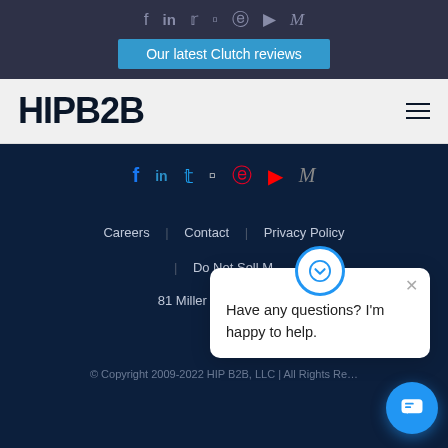Social media icons and Our latest Clutch reviews button
[Figure (screenshot): HIPB2B navigation bar with logo and hamburger menu]
[Figure (screenshot): Footer section with social media icons (Facebook, LinkedIn, Twitter, Instagram, Pinterest, YouTube, Medium)]
Careers | Contact | Privacy Policy
| Do Not Sell M...
81 Miller Rd. Ste. #800,...
(5...
Have any questions? I'm happy to help.
© Copyright 2009-2022 HIP B2B, LLC | All Rights Re...